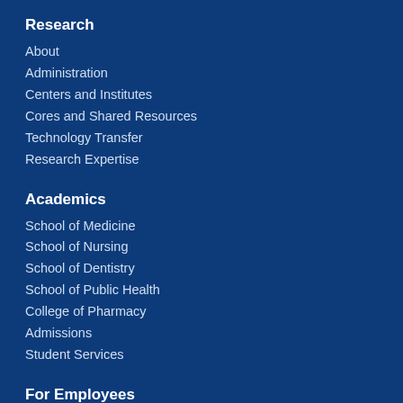Research
About
Administration
Centers and Institutes
Cores and Shared Resources
Technology Transfer
Research Expertise
Academics
School of Medicine
School of Nursing
School of Dentistry
School of Public Health
College of Pharmacy
Admissions
Student Services
For Employees
O2 Intranet